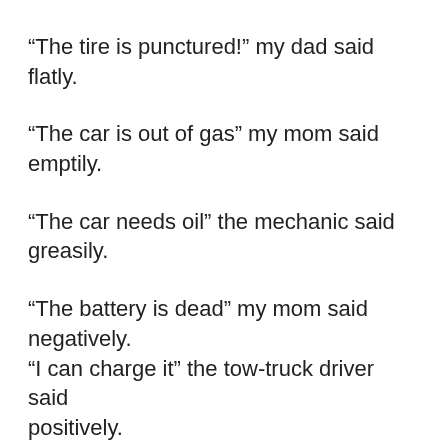“The tire is punctured!” my dad said flatly.
“The car is out of gas” my mom said emptily.
“The car needs oil” the mechanic said greasily.
“The battery is dead” my mom said negatively. “I can charge it” the tow-truck driver said positively.
“That driver is speeding” my mom said quickly.
“This is a great new road” my dad said smoothly